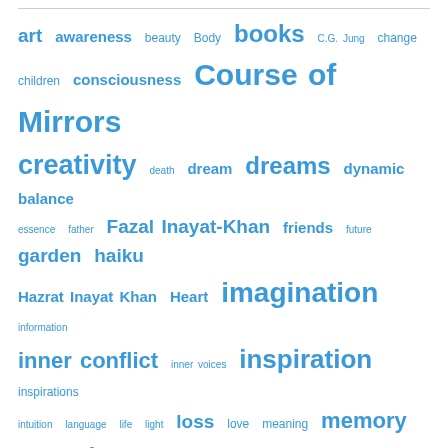[Figure (other): A tag cloud featuring various words in different font sizes, all in blue color. Words include: art, awareness, beauty, Body, books, C.G. Jung, change, children, consciousness, Course of Mirrors, creativity, death, dream, dreams, dynamic balance, essence, father, Fazal Inayat-Khan, friends, future, garden, haiku, Hazrat Inayat Khan, Heart, imagination, information, inner conflict, inner voices, inspiration, inspirations, intuition, language, life, light, loss, love, meaning, memory, metaphors, mind, Moon, my novel, mystery, mystic bewilderment, myth, nature, painter, parents, photography, poem, poetry, psyche]